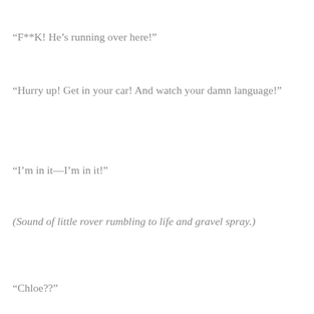“F**K! He’s running over here!”
“Hurry up! Get in your car! And watch your damn language!”
“I’m in it—I’m in it!”
(Sound of little rover rumbling to life and gravel spray.)
“Chloe??”